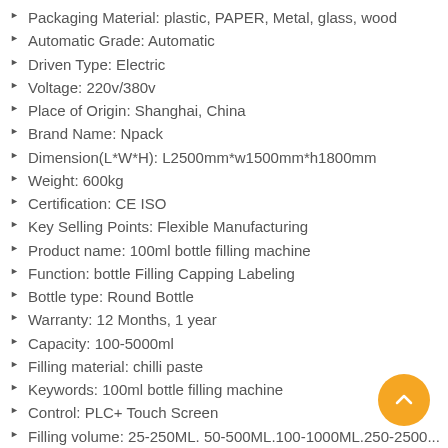Packaging Material: plastic, PAPER, Metal, glass, wood
Automatic Grade: Automatic
Driven Type: Electric
Voltage: 220v/380v
Place of Origin: Shanghai, China
Brand Name: Npack
Dimension(L*W*H): L2500mm*w1500mm*h1800mm
Weight: 600kg
Certification: CE ISO
Key Selling Points: Flexible Manufacturing
Product name: 100ml bottle filling machine
Function: bottle Filling Capping Labeling
Bottle type: Round Bottle
Warranty: 12 Months, 1 year
Capacity: 100-5000ml
Filling material: chilli paste
Keywords: 100ml bottle filling machine
Control: PLC+ Touch Screen
Filling volume: 25-250ML. 50-500ML.100-1000ML.250-2500...
Other name: bottle filling capping and labeling machine